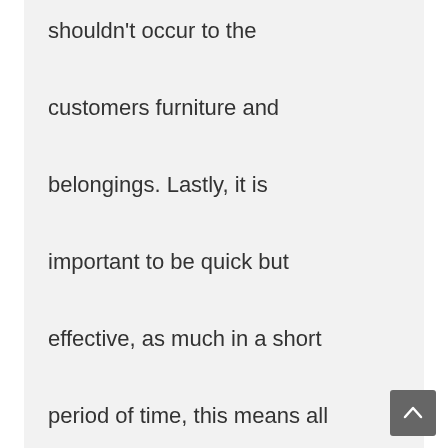shouldn't occur to the customers furniture and belongings. Lastly, it is important to be quick but effective, as much in a short period of time, this means all hands on deck.
Reply
[Figure (photo): A headshot photo of a man wearing glasses and a suit, with gray hair]
Adrian Chavez
5:34 pm on January